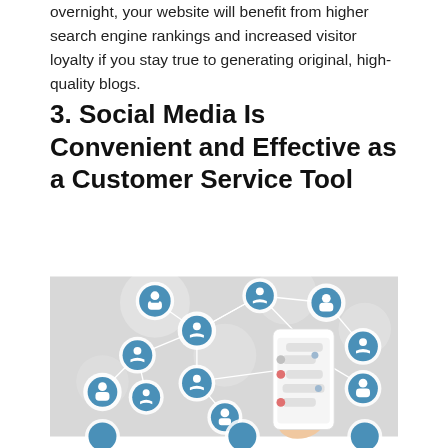overnight, your website will benefit from higher search engine rankings and increased visitor loyalty if you stay true to generating original, high-quality blogs.
3. Social Media Is Convenient and Effective as a Customer Service Tool
[Figure (illustration): Social media network illustration showing multiple circular icons with person and robot avatars connected by lines, with a hand holding a smartphone displaying a chat interface in the center-right of the image.]